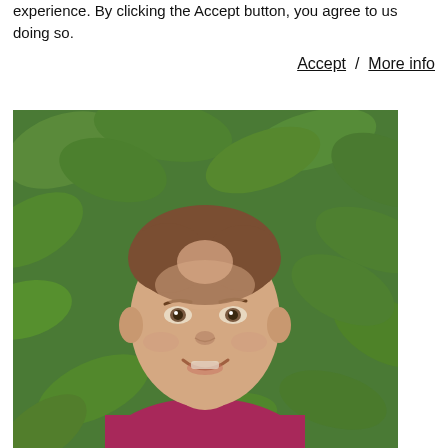experience. By clicking the Accept button, you agree to us doing so.
Accept  /  More info
[Figure (photo): Headshot of a middle-aged man with brown hair, smiling, wearing a purple/magenta sweater over a collared shirt with a tie, with green foliage in the background.]